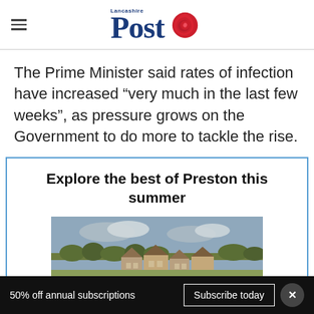Lancashire Post
The Prime Minister said rates of infection have increased “very much in the last few weeks”, as pressure grows on the Government to do more to tackle the rise.
Explore the best of Preston this summer
[Figure (photo): Outdoor photo showing rooftops of buildings with trees and cloudy sky in background]
50% off annual subscriptions  Subscribe today  ×